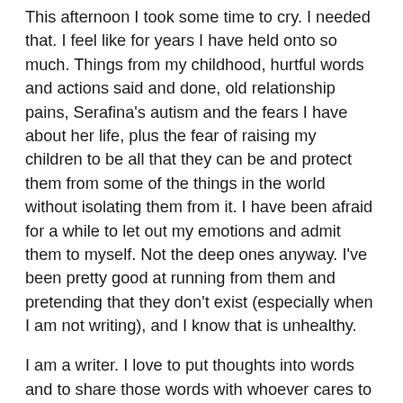This afternoon I took some time to cry. I needed that. I feel like for years I have held onto so much. Things from my childhood, hurtful words and actions said and done, old relationship pains, Serafina's autism and the fears I have about her life, plus the fear of raising my children to be all that they can be and protect them from some of the things in the world without isolating them from it. I have been afraid for a while to let out my emotions and admit them to myself. Not the deep ones anyway. I've been pretty good at running from them and pretending that they don't exist (especially when I am not writing), and I know that is unhealthy.
I am a writer. I love to put thoughts into words and to share those words with whoever cares to read them. It feels so good to be human and to share that humanness. I love connecting on that human level.